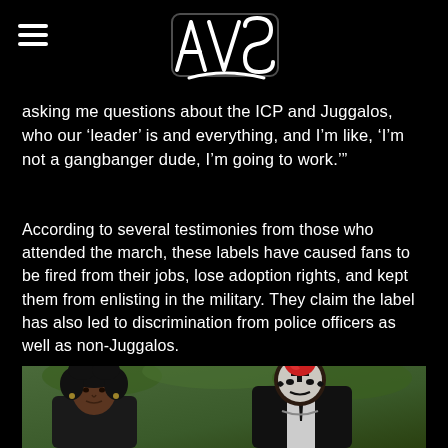AVS logo and hamburger menu
asking me questions about the ICP and Juggalos, who our ‘leader’ is and everything, and I’m like, ‘I’m not a gangbanger dude, I’m going to work.’”
According to several testimonies from those who attended the march, these labels have caused fans to be fired from their jobs, lose adoption rights, and kept them from enlisting in the military. They claim the label has also led to discrimination from police officers as well as non-Juggalos.
[Figure (photo): A woman with curly dark hair on the left and a man with red mohawk and white face paint with black markings, both wearing dark clothing, photographed outdoors.]